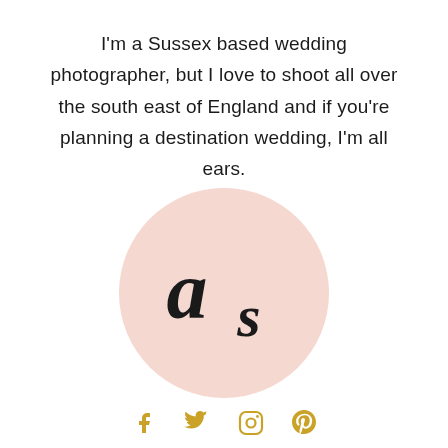I'm a Sussex based wedding photographer, but I love to shoot all over the south east of England and if you're planning a destination wedding, I'm all ears.
[Figure (logo): Circular light pink background with stylized 'as' monogram logo in black serif typeface]
[Figure (infographic): Social media icons row: Facebook, Twitter, Instagram, Pinterest — all in golden/yellow color]